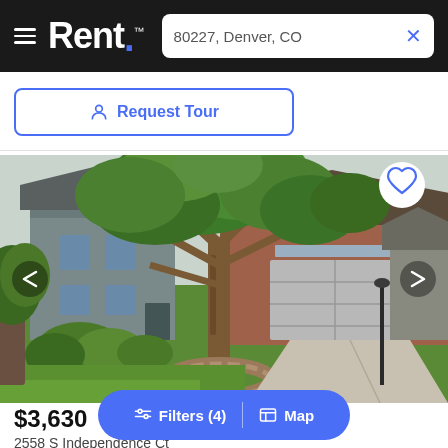Rent. | 80227, Denver, CO
Request Tour
[Figure (photo): Exterior photo of a single-family home with brick facade, large mature tree in front yard with stone ring planter, attached two-car garage, green lawn, gray and white exterior, overcast sky.]
$3,630
2558 S Independence Ct
Filters (4)  |  Map